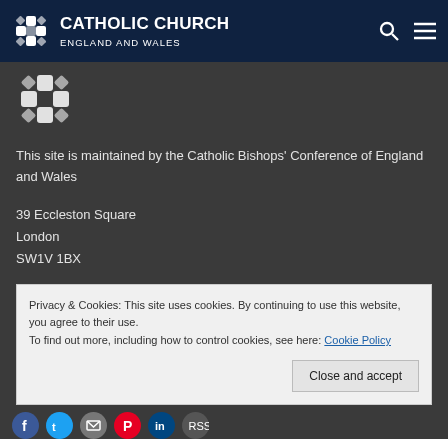CATHOLIC CHURCH ENGLAND AND WALES
[Figure (logo): Catholic Church England and Wales logo - decorative cross/flower pattern in white]
This site is maintained by the Catholic Bishops' Conference of England and Wales
39 Eccleston Square
London
SW1V 1BX
Privacy & Cookies: This site uses cookies. By continuing to use this website, you agree to their use.
To find out more, including how to control cookies, see here: Cookie Policy